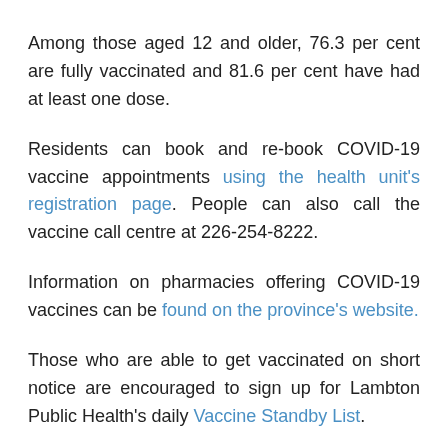Among those aged 12 and older, 76.3 per cent are fully vaccinated and 81.6 per cent have had at least one dose.
Residents can book and re-book COVID-19 vaccine appointments using the health unit's registration page. People can also call the vaccine call centre at 226-254-8222.
Information on pharmacies offering COVID-19 vaccines can be found on the province's website.
Those who are able to get vaccinated on short notice are encouraged to sign up for Lambton Public Health's daily Vaccine Standby List.